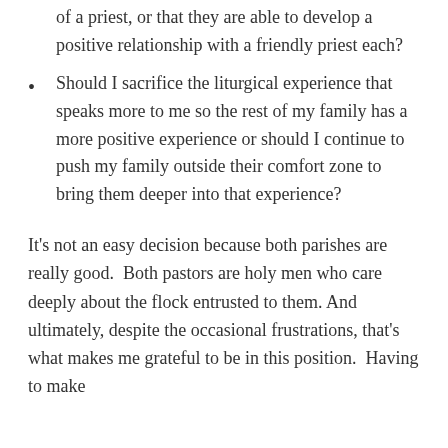of a priest, or that they are able to develop a positive relationship with a friendly priest each?
Should I sacrifice the liturgical experience that speaks more to me so the rest of my family has a more positive experience or should I continue to push my family outside their comfort zone to bring them deeper into that experience?
It's not an easy decision because both parishes are really good.  Both pastors are holy men who care deeply about the flock entrusted to them. And ultimately, despite the occasional frustrations, that's what makes me grateful to be in this position.  Having to make